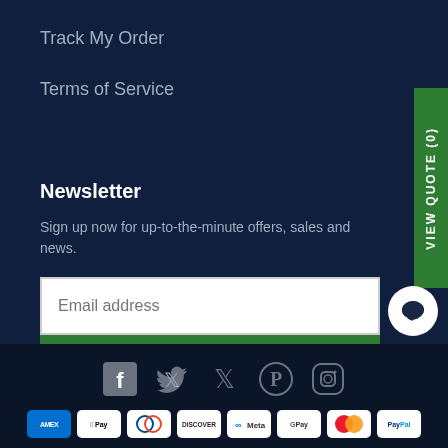Track My Order
Terms of Service
Newsletter
Sign up now for up-to-the-minute offers, sales and news.
Email address
SUBSCRIBE
[Figure (infographic): Social media icons: Facebook, Twitter, Pinterest, Instagram; and a chat bubble button]
[Figure (infographic): Payment method icons: AMEX, Apple Pay, Diners Club, Discover, Meta Pay, Google Pay, Mastercard, PayPal]
VIEW QUOTE (0)